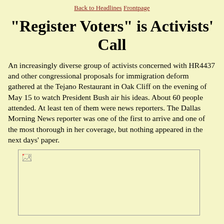Back to Headlines Frontpage
"Register Voters" is Activists' Call
An increasingly diverse group of activists concerned with HR4437 and other congressional proposals for immigration deform gathered at the Tejano Restaurant in Oak Cliff on the evening of May 15 to watch President Bush air his ideas. About 60 people attended. At least ten of them were news reporters. The Dallas Morning News reporter was one of the first to arrive and one of the most thorough in her coverage, but nothing appeared in the next days' paper.
[Figure (photo): Placeholder image box, image not loaded (broken image icon visible in top-left corner)]